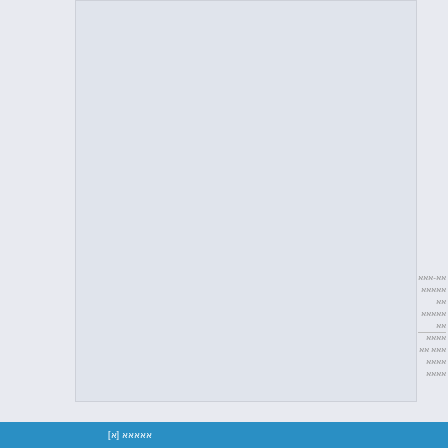[Figure (other): Large light gray image placeholder box on the left side of the page]
אאאאאאא אאאאאאא
אאאא אאאאא אאא
אאאאאאא,אא drea
אאאאאאאא אאאאא
אאאאאאאא אאאאא
אאאא אאא אאאאאא
אאאא אאא אאאאאא
אאאאא אאאא stic
trustable אאא
אאאאאאאאאא אאאא
אאא אא אאאאאאא
אאאאאאאאא אאא א
אאאאא אאאא Xb
אאאאאאא אאאא א
אאאא אאא אאאאאא
אאאאאאא אאאא א
אא-אאא אאאאאאא אאאאאאא
אאאא אאא אא אאאא אאאא
אאאאא [א]